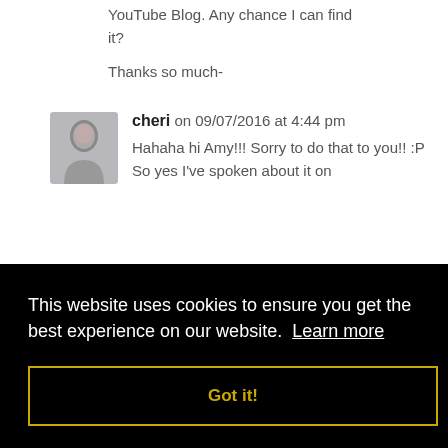YouTube Blog. Any chance I can find it?
Thanks so much-
cheri on 09/07/2016 at 4:44 pm
Hahaha hi Amy!!! Sorry to do that to you!! :P So yes I've spoken about it on
This website uses cookies to ensure you get the best experience on our website. Learn more
Got it!
found in Parman's 10 in 20 Meal